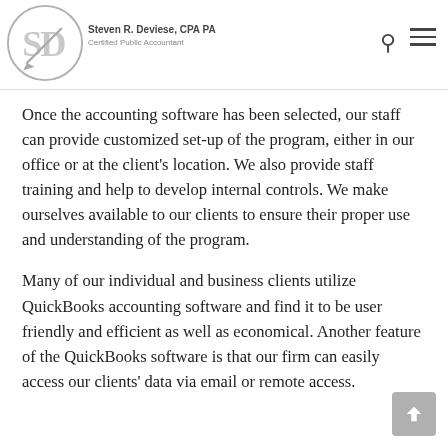Steven R. Deviese, CPA PA – Certified Public Accountant
Once the accounting software has been selected, our staff can provide customized set-up of the program, either in our office or at the client's location. We also provide staff training and help to develop internal controls. We make ourselves available to our clients to ensure their proper use and understanding of the program.
Many of our individual and business clients utilize QuickBooks accounting software and find it to be user friendly and efficient as well as economical. Another feature of the QuickBooks software is that our firm can easily access our clients' data via email or remote access.